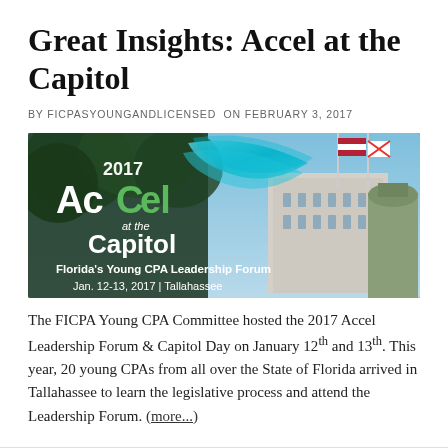Great Insights: Accel at the Capitol
BY FICPASYOUNGANDLICENSED ON FEBRUARY 3, 2017
[Figure (photo): 2017 Accel at the Capitol banner image. Florida's Young CPA Leadership Forum, Jan. 12-13, 2017 | Tallahassee. Shows the Florida State Capitol building with flags, and stylized Accel logo with green and teal swoosh.]
The FICPA Young CPA Committee hosted the 2017 Accel Leadership Forum & Capitol Day on January 12th and 13th. This year, 20 young CPAs from all over the State of Florida arrived in Tallahassee to learn the legislative process and attend the Leadership Forum. (more...)